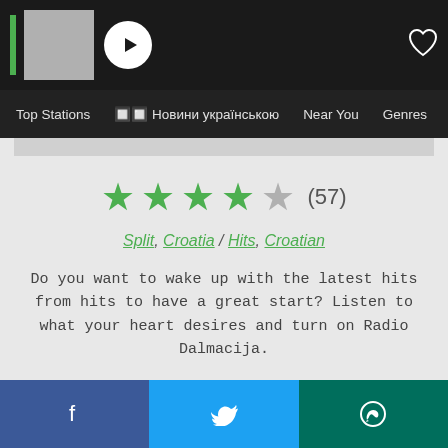Top Stations  🔲🔲 Новини українською  Near You  Genres
[Figure (screenshot): Partially visible station logo/thumbnail image strip at top of content area]
★ ★ ★ ★ ☆ (57)
Split, Croatia / Hits, Croatian
Do you want to wake up with the latest hits from hits to have a great start? Listen to what your heart desires and turn on Radio Dalmacija.
[Figure (infographic): Social share buttons row: Facebook (blue), Twitter (light blue), WhatsApp (dark teal)]